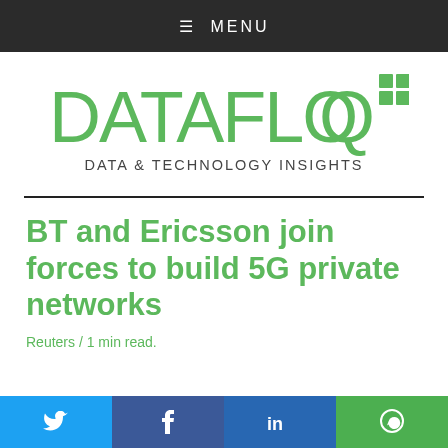≡ MENU
[Figure (logo): Datafloq logo — stylized green text reading DATAFLOQ with two green squares top-right, and subtitle DATA & TECHNOLOGY INSIGHTS]
BT and Ericsson join forces to build 5G private networks
Reuters / 1 min read.
[Figure (other): Social share buttons: Twitter (blue), Facebook (blue), LinkedIn (dark blue), WhatsApp (green)]